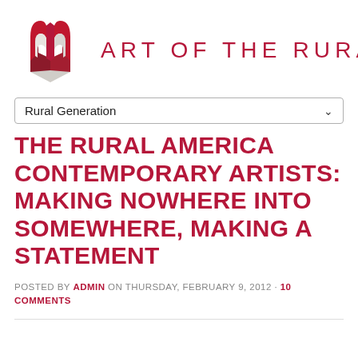[Figure (logo): Art of the Rural logo: red/crimson abstract barn or book shape with white/gray geometric highlights, and the text 'ART OF THE RURAL' in crimson spaced letters]
Rural Generation
THE RURAL AMERICA CONTEMPORARY ARTISTS: MAKING NOWHERE INTO SOMEWHERE, MAKING A STATEMENT
POSTED BY ADMIN ON THURSDAY, FEBRUARY 9, 2012 · 10 COMMENTS